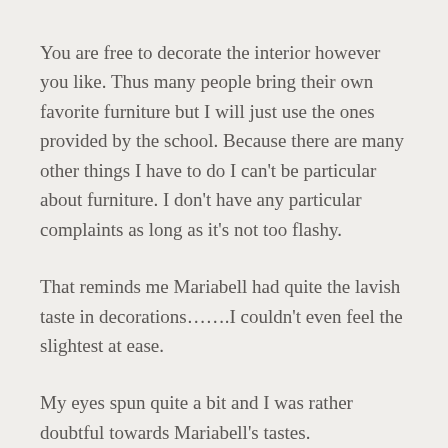You are free to decorate the interior however you like. Thus many people bring their own favorite furniture but I will just use the ones provided by the school. Because there are many other things I have to do I can't be particular about furniture. I don't have any particular complaints as long as it's not too flashy.
That reminds me Mariabell had quite the lavish taste in decorations…….I couldn't even feel the slightest at ease.
My eyes spun quite a bit and I was rather doubtful towards Mariabell's tastes.